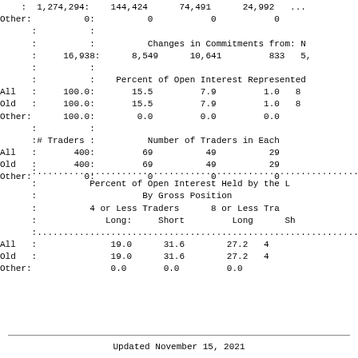|  |  | 1,274,294: | 144,424 | 74,491 | 24,992 | ... |
| Other: | 0: | 0 | 0 | 0 |  |
|  | : | : |  |  |  |  |
|  | : | : | Changes in Commitments from: N |  |  |  |
|  | : | 16,938: | 8,549 | 10,641 | 833 | 5,... |
|  | : | : |  |  |  |  |
|  | : | : | Percent of Open Interest Represented |  |  |  |
| All | : | 100.0: | 15.5 | 7.9 | 1.0 | 8... |
| Old | : | 100.0: | 15.5 | 7.9 | 1.0 | 8... |
| Other: |  | 100.0: | 0.0 | 0.0 | 0.0 |  |
|  | : | : |  |  |  |  |
|  | :# Traders : |  | Number of Traders in Each |  |  |  |
| All | : | 400: | 69 | 49 | 29 |  |
| Old | : | 400: | 69 | 49 | 29 |  |
| Other: |  | 0: | 0 | 0 | 0 |  |
|  | 4 or Less Traders Long: | Short | 8 or Less Traders Long | Short |
| --- | --- | --- | --- | --- |
| All : | 19.0 | 31.6 | 27.2 | 4... |
| Old : | 19.0 | 31.6 | 27.2 | 4... |
| Other: | 0.0 | 0.0 | 0.0 |  |
Updated November 15, 2021